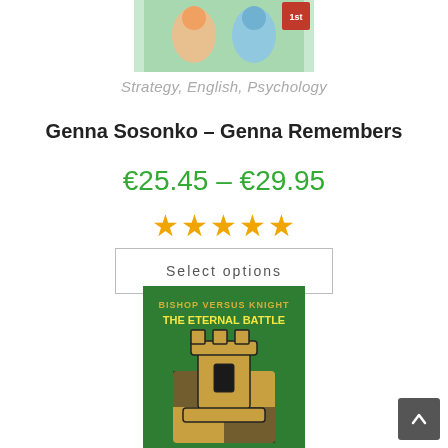[Figure (photo): Top portion of a chess/strategy book cover with illustrated characters]
Strategy, English, Psychology
Genna Sosonko – Genna Remembers
€25.45 – €29.95
[Figure (other): Five gold star rating icons]
Select options
[Figure (photo): Book cover: Bishop Versus Knight – The Eternal Battle, showing chess pieces on a checkered pattern, green background. Has a SALE -20% badge overlay.]